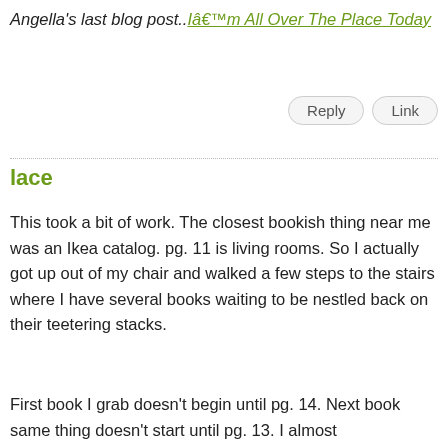Angella's last blog post..Iâ€™m All Over The Place Today
Reply   Link
lace
This took a bit of work. The closest bookish thing near me was an Ikea catalog. pg. 11 is living rooms. So I actually got up out of my chair and walked a few steps to the stairs where I have several books waiting to be nestled back on their teetering stacks.
First book I grab doesn't begin until pg. 14. Next book same thing doesn't start until pg. 13. I almost